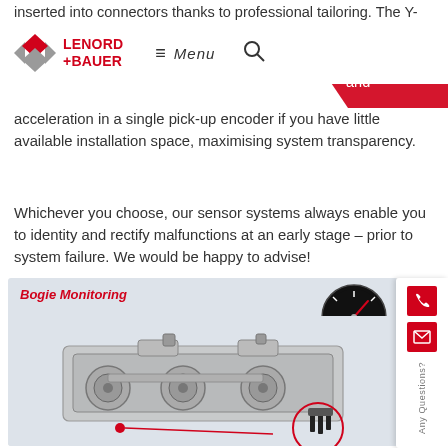Lenord+Bauer — Menu navigation bar with logo and search icon
inserted into connectors thanks to professional tailoring. The Y- [connector] you can use a [temperature and] acceleration in a single pick-up encoder if you have little available installation space, maximising system transparency.
Whichever you choose, our sensor systems always enable you to identity and rectify malfunctions at an early stage – prior to system failure. We would be happy to advise!
[Figure (photo): Bogie Monitoring image showing a railway bogie assembly with sensors highlighted. Title reads 'Bogie Monitoring' in red italic. A gauge instrument is visible top-right. A circular callout highlights a sensor/pick-up component at bottom-right.]